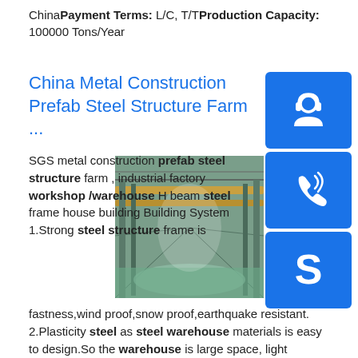ChinaPayment Terms: L/C, T/TProduction Capacity: 100000 Tons/Year
China Metal Construction Prefab Steel Structure Farm ...
SGS metal construction prefab steel structure farm , industrial factory workshop /warehouse H beam steel frame house building Building System 1.Strong steel structure frame is fastness,wind proof,snow proof,earthquake resistant. 2.Plasticity steel as steel warehouse materials is easy to design.So the warehouse is large space, light weight.Price Range: $30 - $80sp.info Related searches for warehouse workshop prefab steel stru…prefab steel building kits priceprefab steel buildings cost
[Figure (photo): Interior of a large prefab steel structure industrial factory/warehouse with overhead cranes and green floor.]